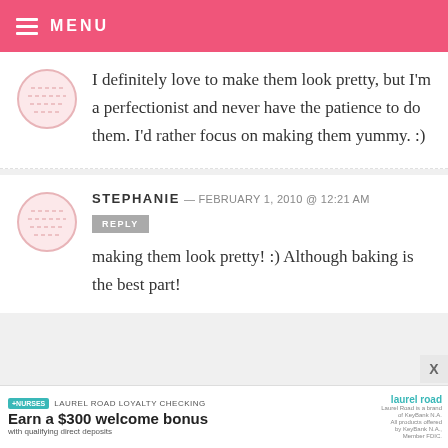MENU
I definitely love to make them look pretty, but I'm a perfectionist and never have the patience to do them. I'd rather focus on making them yummy. :)
STEPHANIE — FEBRUARY 1, 2010 @ 12:21 AM
making them look pretty! :) Although baking is the best part!
[Figure (screenshot): Advertisement banner: +NURSES badge, Laurel Road loyalty checking, Earn a $300 welcome bonus with qualifying direct deposits]